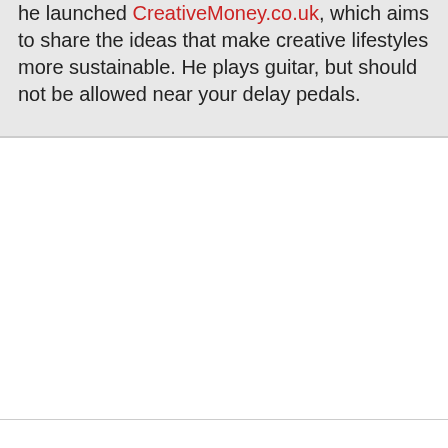he launched CreativeMoney.co.uk, which aims to share the ideas that make creative lifestyles more sustainable. He plays guitar, but should not be allowed near your delay pedals.